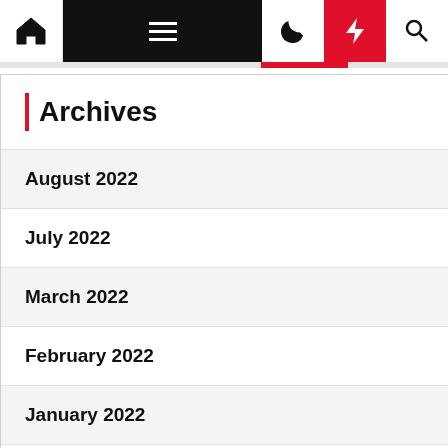Navigation bar with home, menu, dark mode, bolt/flash, and search icons
Archives
August 2022
July 2022
March 2022
February 2022
January 2022
December 2021
November 2021
September 2021